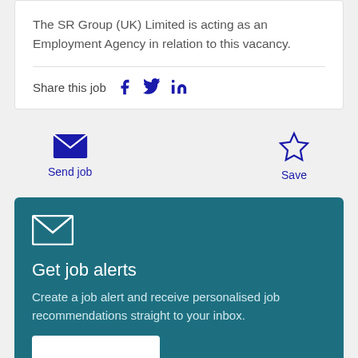The SR Group (UK) Limited is acting as an Employment Agency in relation to this vacancy.
Share this job
Send job
Save
Get job alerts
Create a job alert and receive personalised job recommendations straight to your inbox.